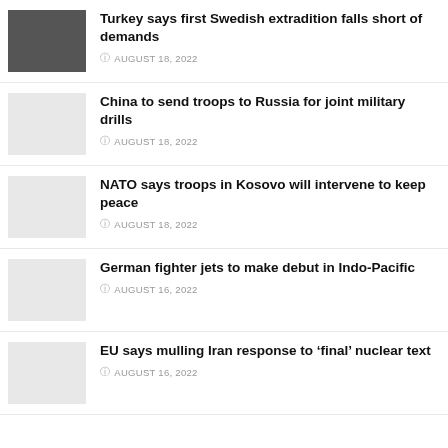Turkey says first Swedish extradition falls short of demands — AUGUST 18, 2022
China to send troops to Russia for joint military drills — AUGUST 18, 2022
NATO says troops in Kosovo will intervene to keep peace — AUGUST 18, 2022
German fighter jets to make debut in Indo-Pacific — AUGUST 16, 2022
EU says mulling Iran response to 'final' nuclear text — AUGUST 16, 2022